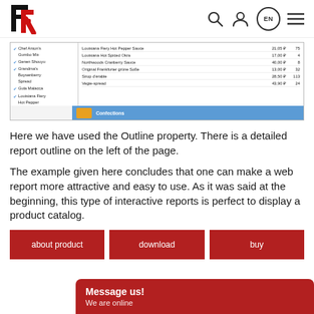FR logo with search, user, EN language, and menu icons
[Figure (screenshot): Screenshot of a web report showing a product list with categories on the left (Chef Anton's Gumbo Mix, Genen Shouyu, Grandma's Boysenberry Spread, Gula Malacca, Louisiana Fiery Hot Pepper) and product rows on the right (Louisiana Fiery Hot Pepper Sauce 21.05 75, Louisiana Hot Spiced Okra 17.00 4, Northwoods Cranberry Sauce 40.00 8, Original Frankfurter grüne Soße 13.00 32, Sirop d'érable 28.50 113, Vegie-spread 43.90 24), with a Confections bar at the bottom.]
Here we have used the Outline property. There is a detailed report outline on the left of the page.
The example given here concludes that one can make a web report more attractive and easy to use. As it was said at the beginning, this type of interactive reports is perfect to display a product catalog.
about product
download
buy
Message us! We are online